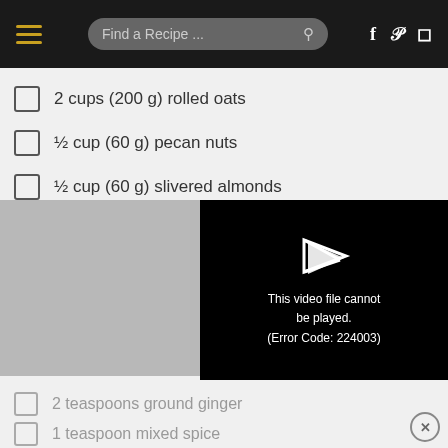Find a Recipe ...
2 cups (200 g) rolled oats
½ cup (60 g) pecan nuts
½ cup (60 g) slivered almonds
¼ cup (35 g)
60 g butter
¼ cup (60 ml)
2 tablespoons
2 teaspoons ground ginger
1 teaspoon mixed spice
[Figure (screenshot): Video player error overlay showing 'This video file cannot be played. (Error Code: 224003)' with a play arrow icon on black background]